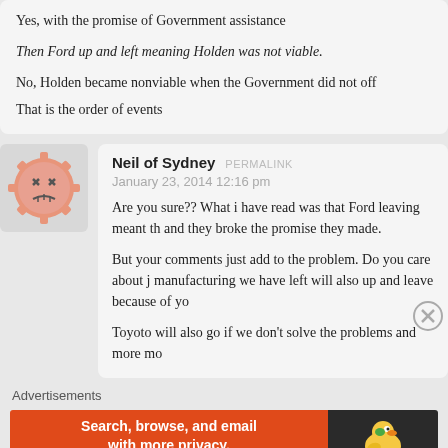Yes, with the promise of Government assistance
Then Ford up and left meaning Holden was not viable.
No, Holden became nonviable when the Government did not off... That is the order of events
Neil of Sydney  PERMALINK
January 23, 2014 12:16 pm
Are you sure?? What i have read was that Ford leaving meant th... and they broke the promise they made.
But your comments just add to the problem. Do you care about j... manufacturing we have left will also up and leave because of yo...
Toyoto will also go if we don't solve the problems and more mo...
Advertisements
[Figure (infographic): DuckDuckGo advertisement banner: orange background on left with text 'Search, browse, and email with more privacy. All in One Free App', dark background on right with DuckDuckGo logo (duck icon and DuckDuckGo text)]